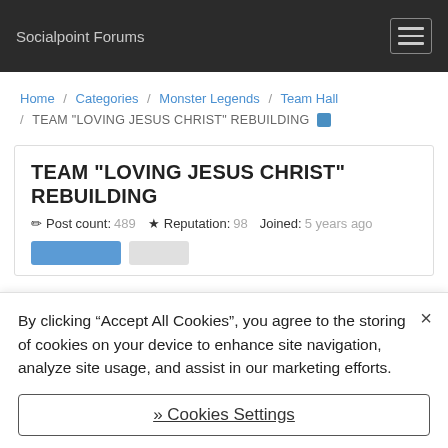Socialpoint Forums
Home / Categories / Monster Legends / Team Hall / TEAM "LOVING JESUS CHRIST" REBUILDING
TEAM "LOVING JESUS CHRIST" REBUILDING
Post count: 489  Reputation: 98  Joined: 5 years ago
By clicking “Accept All Cookies”, you agree to the storing of cookies on your device to enhance site navigation, analyze site usage, and assist in our marketing efforts.
» Cookies Settings